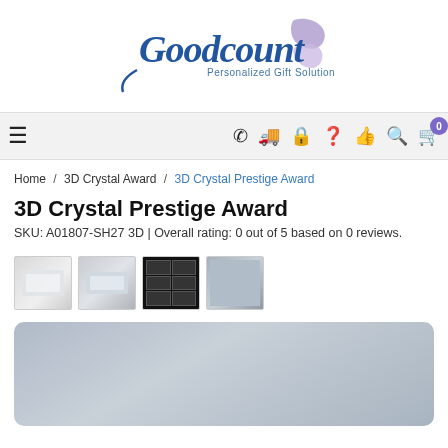[Figure (logo): Goodcount Personalized Gift Solution logo — stylized blue script text with a purple ribbon/bow graphic]
[Figure (screenshot): Website navigation bar with hamburger menu, phone, truck, lock, question mark, thumbs up, search, and cart (badge 0) icons]
Home / 3D Crystal Award / 3D Crystal Prestige Award
3D Crystal Prestige Award
SKU: A01807-SH27 3D | Overall rating: 0 out of 5 based on 0 reviews.
[Figure (photo): Four product thumbnail images of a 3D crystal award — clear crystal, another angle, multi-product grid on black background, and a blue-grey gradient placeholder]
[Figure (photo): Main product image placeholder — large blue-grey gradient rounded rectangle]